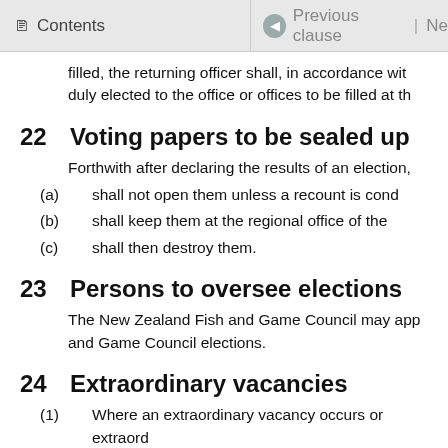Contents | Previous clause | Ne
filled, the returning officer shall, in accordance with, duly elected to the office or offices to be filled at th
22  Voting papers to be sealed up
Forthwith after declaring the results of an election,
(a)  shall not open them unless a recount is cond
(b)  shall keep them at the regional office of the
(c)  shall then destroy them.
23  Persons to oversee elections
The New Zealand Fish and Game Council may app and Game Council elections.
24  Extraordinary vacancies
(1)  Where an extraordinary vacancy occurs or extraord publish in all major daily newspapers circulating in and that an election will only be called if requested
(2)  The election shall be held in accordance with these